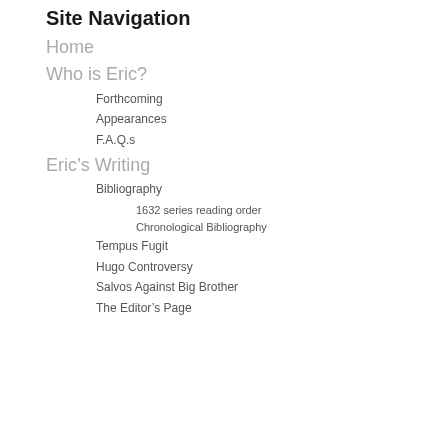Site Navigation
Home
Who is Eric?
Forthcoming
Appearances
F.A.Q.s
Eric's Writing
Bibliography
1632 series reading order
Chronological Bibliography
Tempus Fugit
Hugo Controversy
Salvos Against Big Brother
The Editor's Page